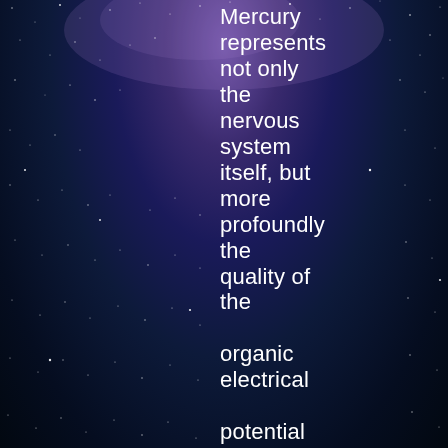[Figure (illustration): Night sky background with stars and milky way, deep blue and purple tones]
Mercury represents not only the nervous system itself, but more profoundly the quality of the organic electrical potential which animates it. The cycles of